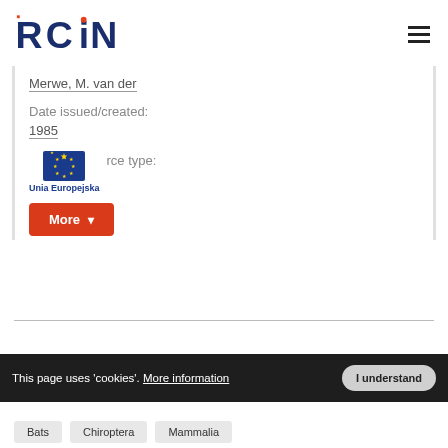[Figure (logo): RCIN logo with red square accent on R and orange dot on i]
Merwe, M. van der
Date issued/created:
1985
[Figure (logo): EU flag - blue background with yellow stars circle, labeled Unia Europejska]
rce type:
More
This page uses 'cookies'. More information
I understand
Bats
Chiroptera
Mammalia